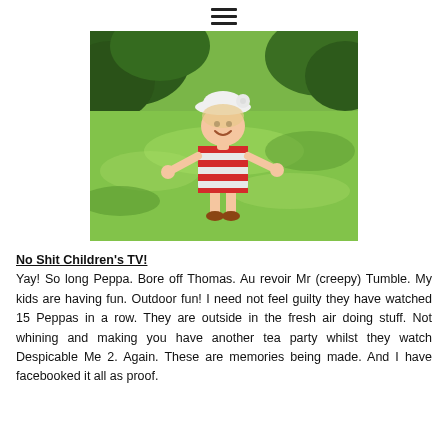≡
[Figure (photo): A young girl wearing a red and white striped dress and a white hat, running and laughing outdoors on a green lawn with trees in the background.]
No Shit Children's TV!
Yay! So long Peppa. Bore off Thomas. Au revoir Mr (creepy) Tumble. My kids are having fun. Outdoor fun! I need not feel guilty they have watched 15 Peppas in a row. They are outside in the fresh air doing stuff. Not whining and making you have another tea party whilst they watch Despicable Me 2. Again. These are memories being made. And I have facebooked it all as proof.